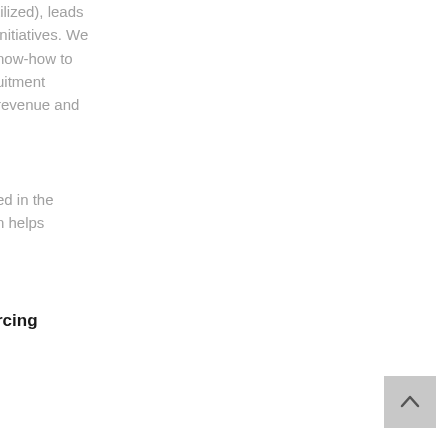tilized), leads
initiatives. We
now-how to
uitment
revenue and
ed in the
n helps
rcing